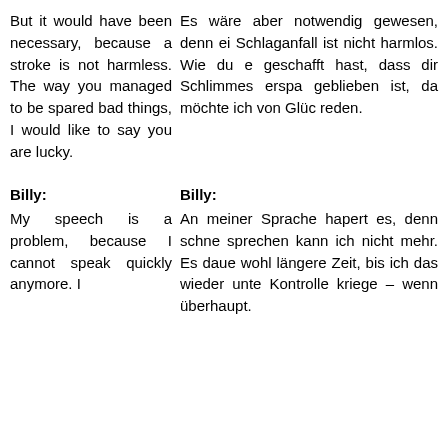But it would have been necessary, because a stroke is not harmless. The way you managed to be spared bad things, I would like to say you are lucky.
Es wäre aber notwendig gewesen, denn ei Schlaganfall ist nicht harmlos. Wie du e geschafft hast, dass dir Schlimmes erspa geblieben ist, da möchte ich von Glüc reden.
Billy:
Billy:
My speech is a problem, because I cannot speak quickly anymore. I
An meiner Sprache hapert es, denn schne sprechen kann ich nicht mehr. Es daue wohl längere Zeit, bis ich das wieder unte Kontrolle kriege – wenn überhaupt.